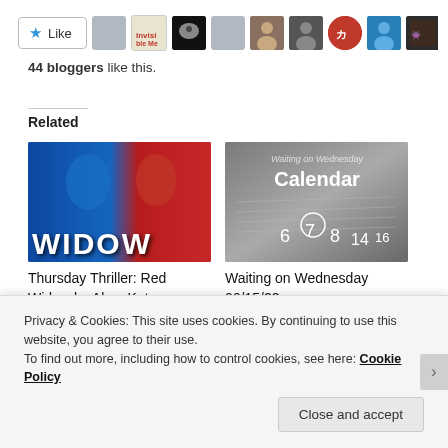[Figure (screenshot): Like button with star icon and row of blogger avatar thumbnails]
44 bloggers like this.
Related
[Figure (photo): Book cover for Red Widow by Alma Katsu showing blue and red silhouette with WIDOW text]
Thursday Thriller: Red Widow by Alma Katsu
July 1, 2021
[Figure (photo): Calendar image with Waiting on Wednesday text overlay]
Waiting on Wednesday 06/15/22
June 15, 2022
Privacy & Cookies: This site uses cookies. By continuing to use this website, you agree to their use.
To find out more, including how to control cookies, see here: Cookie Policy
Close and accept